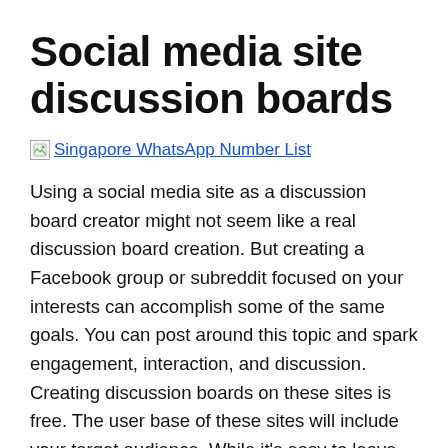Social media site discussion boards
[Figure (other): Broken image placeholder with link text: Singapore WhatsApp Number List]
Using a social media site as a discussion board creator might not seem like a real discussion board creation. But creating a Facebook group or subreddit focused on your interests can accomplish some of the same goals. You can post around this topic and spark engagement, interaction, and discussion. Creating discussion boards on these sites is free. The user base of these sites will include your target audience. While it’s easy to leave you with few options when it comes